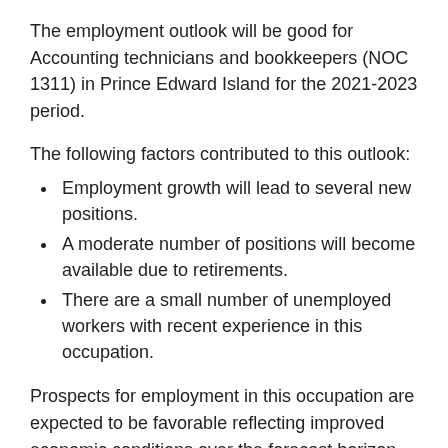The employment outlook will be good for Accounting technicians and bookkeepers (NOC 1311) in Prince Edward Island for the 2021-2023 period.
The following factors contributed to this outlook:
Employment growth will lead to several new positions.
A moderate number of positions will become available due to retirements.
There are a small number of unemployed workers with recent experience in this occupation.
Prospects for employment in this occupation are expected to be favorable reflecting improved economic conditions over the forecast horizon.